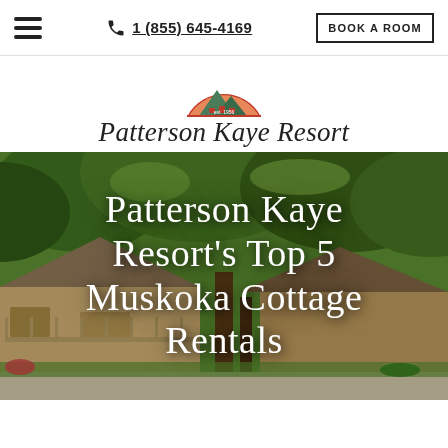1 (855) 645-4169 | BOOK A ROOM
[Figure (logo): Patterson Kaye Resort logo: semicircle emblem with sunset/mountains and red chairs, with script text 'Patterson Kaye Resort' below]
[Figure (photo): Exterior photo of Patterson Kaye Resort showing log-style cottage buildings surrounded by lush green trees in summer, with a driveway in foreground]
Patterson Kaye Resort's Top 5 Muskoka Cottage Rentals